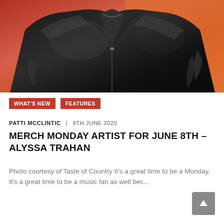[Figure (photo): Photo of a person wearing a black leather jacket against an orange/red background, cropped to show torso]
WHAT'S NEW   FEATURES
PATTI MCCLINTIC  |  8TH JUNE 2020
MERCH MONDAY ARTIST FOR JUNE 8TH – ALYSSA TRAHAN
Photo courtesy of Taste of Country It's a great time to be a Monday.  It's a great time to be a music fan as well bec...